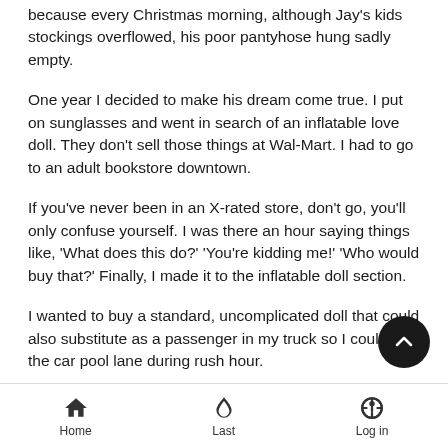because every Christmas morning, although Jay's kids stockings overflowed, his poor pantyhose hung sadly empty.
One year I decided to make his dream come true. I put on sunglasses and went in search of an inflatable love doll. They don't sell those things at Wal-Mart. I had to go to an adult bookstore downtown.
If you've never been in an X-rated store, don't go, you'll only confuse yourself. I was there an hour saying things like, 'What does this do?' 'You're kidding me!' 'Who would buy that?' Finally, I made it to the inflatable doll section.
I wanted to buy a standard, uncomplicated doll that could also substitute as a passenger in my truck so I could use the car pool lane during rush hour.
Finding what I wanted was difficult. 'Love Dolls' come in many
Home   Last   Log in